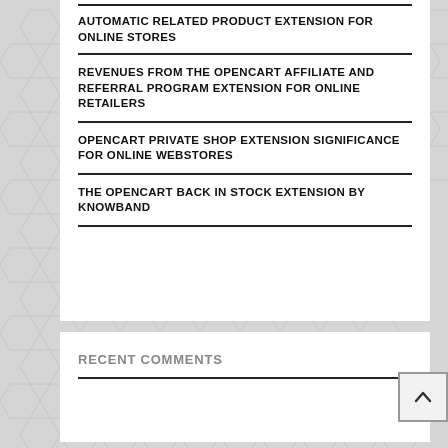AUTOMATIC RELATED PRODUCT EXTENSION FOR ONLINE STORES
REVENUES FROM THE OPENCART AFFILIATE AND REFERRAL PROGRAM EXTENSION FOR ONLINE RETAILERS
OPENCART PRIVATE SHOP EXTENSION SIGNIFICANCE FOR ONLINE WEBSTORES
THE OPENCART BACK IN STOCK EXTENSION BY KNOWBAND
RECENT COMMENTS